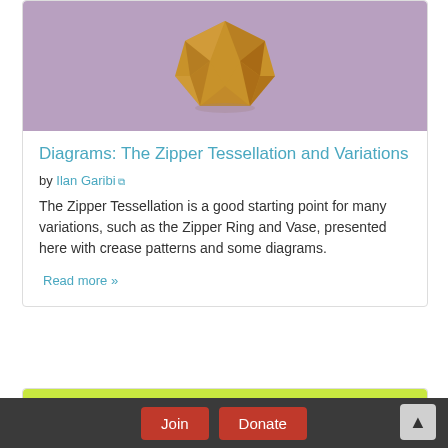[Figure (photo): Orange origami geometric sculpture (Zipper Tessellation) on gray background]
Diagrams: The Zipper Tessellation and Variations
by Ilan Garibi
The Zipper Tessellation is a good starting point for many variations, such as the Zipper Ring and Vase, presented here with crease patterns and some diagrams.
Read more »
[Figure (photo): Green/olive origami figure on bright yellow-green background]
Join   Donate